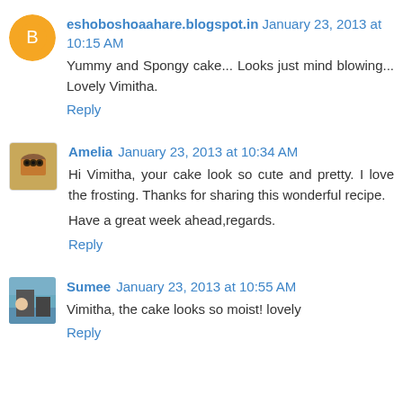eshoboshoaahare.blogspot.in  January 23, 2013 at 10:15 AM
Yummy and Spongy cake... Looks just mind blowing... Lovely Vimitha.
Reply
Amelia  January 23, 2013 at 10:34 AM
Hi Vimitha, your cake look so cute and pretty. I love the frosting. Thanks for sharing this wonderful recipe.
Have a great week ahead,regards.
Reply
Sumee  January 23, 2013 at 10:55 AM
Vimitha, the cake looks so moist! lovely
Reply